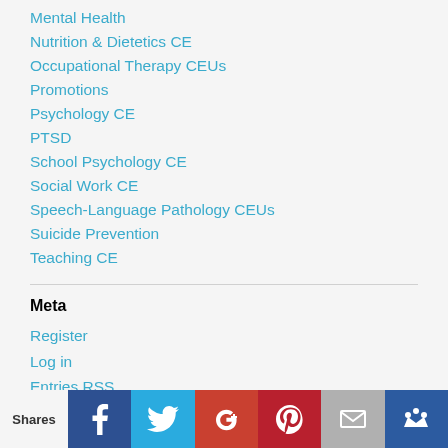Mental Health
Nutrition & Dietetics CE
Occupational Therapy CEUs
Promotions
Psychology CE
PTSD
School Psychology CE
Social Work CE
Speech-Language Pathology CEUs
Suicide Prevention
Teaching CE
Meta
Register
Log in
Entries RSS
Comments RSS
WordPress.org
Shares | Facebook | Twitter | Google+ | Pinterest | Email | Bookmark